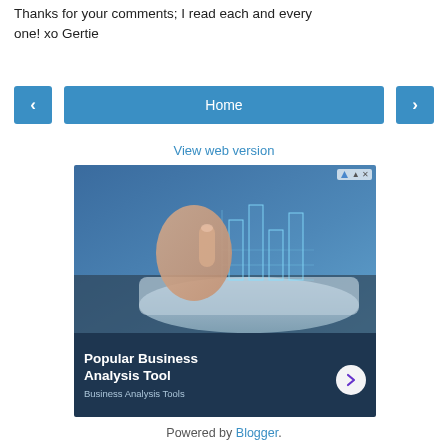Thanks for your comments; I read each and every one! xo Gertie
[Figure (screenshot): Navigation row with left arrow button, Home button, and right arrow button]
View web version
[Figure (screenshot): Advertisement image showing a hand pointing at holographic bar charts on a tablet, with text 'Popular Business Analysis Tool' and subtitle 'Business Analysis Tools', with a forward arrow button]
Powered by Blogger.